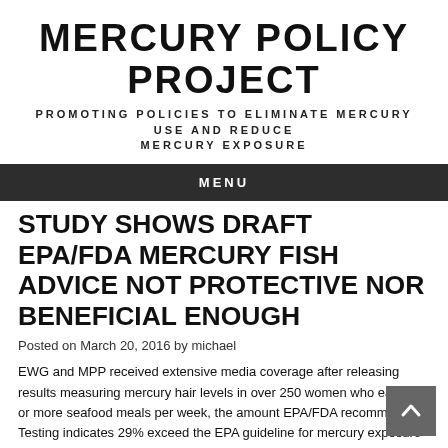MERCURY POLICY PROJECT
PROMOTING POLICIES TO ELIMINATE MERCURY USE AND REDUCE MERCURY EXPOSURE
MENU
STUDY SHOWS DRAFT EPA/FDA MERCURY FISH ADVICE NOT PROTECTIVE NOR BENEFICIAL ENOUGH
Posted on March 20, 2016 by michael
EWG and MPP received extensive media coverage after releasing results measuring mercury hair levels in over 250 women who eat two or more seafood meals per week, the amount EPA/FDA recommend. Testing indicates 29% exceed the EPA guideline for mercury exposure during pregnancy (1 ppm) and 59% exceed a more protective upper limit of 0.58 ppm recommended by scientists. Tuna was a major source of participant's mercury exposure (40% of estimated ingestion) which is consistent with MPP's (now updated) analysis using FDA's data, which shows tuna accounts for 45% of mercury in